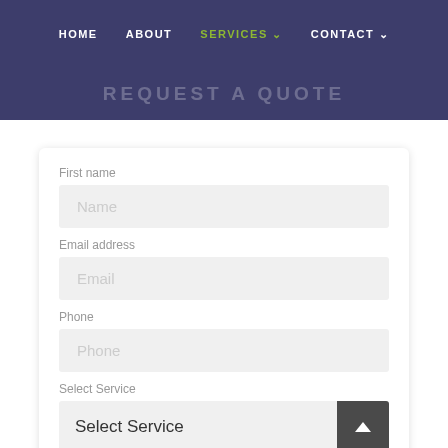HOME   ABOUT   SERVICES   CONTACT
REQUEST A QUOTE
First name
Name
Email address
Email
Phone
Phone
Select Service
Select Service
Details